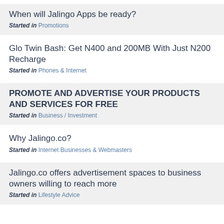When will Jalingo Apps be ready?
Started in Promotions
Glo Twin Bash: Get N400 and 200MB With Just N200 Recharge
Started in Phones & Internet
PROMOTE AND ADVERTISE YOUR PRODUCTS AND SERVICES FOR FREE
Started in Business / Investment
Why Jalingo.co?
Started in Internet Businesses & Webmasters
Jalingo.co offers advertisement spaces to business owners willing to reach more
Started in Lifestyle Advice